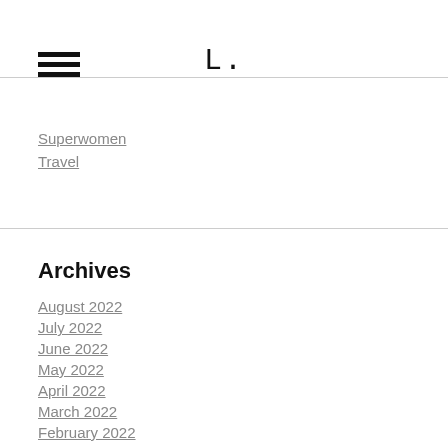L.
Superwomen
Travel
Archives
August 2022
July 2022
June 2022
May 2022
April 2022
March 2022
February 2022
January 2022
December 2021
November 2021
October 2021